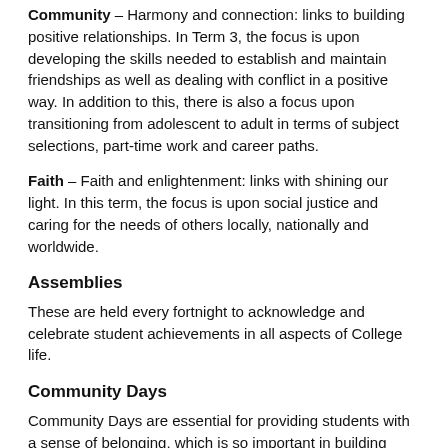Community – Harmony and connection: links to building positive relationships. In Term 3, the focus is upon developing the skills needed to establish and maintain friendships as well as dealing with conflict in a positive way. In addition to this, there is also a focus upon transitioning from adolescent to adult in terms of subject selections, part-time work and career paths.
Faith – Faith and enlightenment: links with shining our light. In this term, the focus is upon social justice and caring for the needs of others locally, nationally and worldwide.
Assemblies
These are held every fortnight to acknowledge and celebrate student achievements in all aspects of College life.
Community Days
Community Days are essential for providing students with a sense of belonging, which is so important in building personal wellbeing. Some of these include St Bede's Feast Day, swimming and athletics carnivals and National Day of Action Against Bullying and Violence.